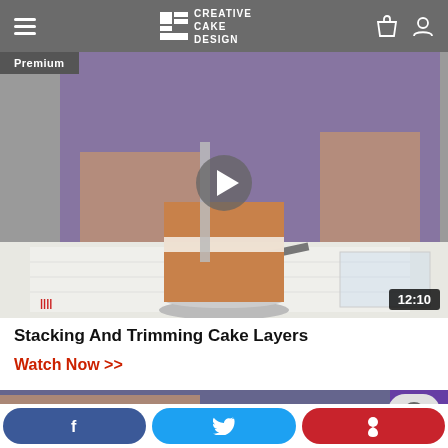Creative Cake Design
[Figure (screenshot): Video thumbnail showing a person in a purple top trimming and stacking cake layers on a turntable, with a play button overlay and duration badge showing 12:10. A 'Premium' badge is shown in the top-left corner.]
Stacking And Trimming Cake Layers
Watch Now >>
[Figure (screenshot): Partial view of a second video thumbnail showing hands working with baking tools, with a chat bubble icon and partial purple background.]